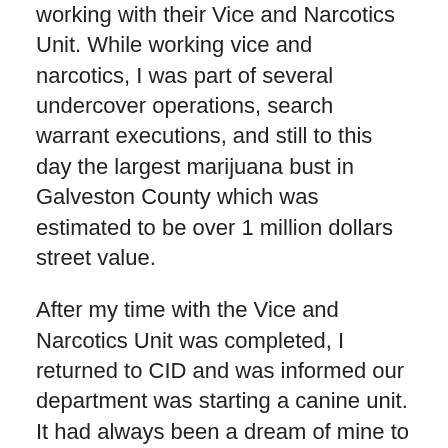working with their Vice and Narcotics Unit. While working vice and narcotics, I was part of several undercover operations, search warrant executions, and still to this day the largest marijuana bust in Galveston County which was estimated to be over 1 million dollars street value.
After my time with the Vice and Narcotics Unit was completed, I returned to CID and was informed our department was starting a canine unit. It had always been a dream of mine to be a canine handler. I applied for the position and was selected as the first UTMB Canine Officer. Upon completion of my training classes and certifications, I immediately began reaching out to other departments in the county to start networking with them.
Canine Noey and I having been part of several felony high risk warrant executions, suspicious packages, bomb threats, violent offender suspect tracking, and the public relations that go along with it. My dream has become a reality that I get to enjoy every day.